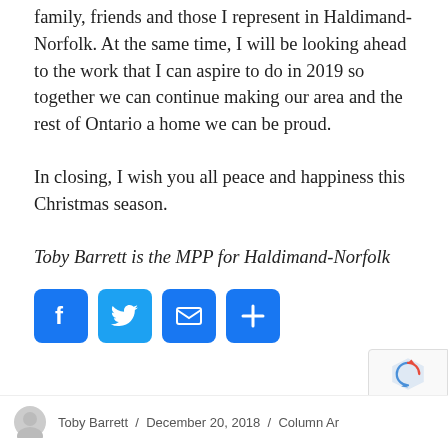family, friends and those I represent in Haldimand-Norfolk. At the same time, I will be looking ahead to the work that I can aspire to do in 2019 so together we can continue making our area and the rest of Ontario a home we can be proud.
In closing, I wish you all peace and happiness this Christmas season.
Toby Barrett is the MPP for Haldimand-Norfolk
[Figure (other): Social sharing icons: Facebook, Twitter, Email, Share More]
Toby Barrett / December 20, 2018 / Column Ar